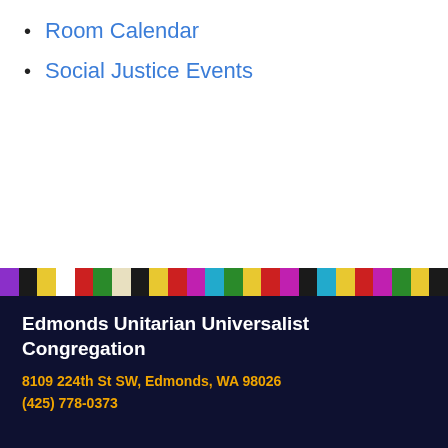Room Calendar
Social Justice Events
Edmonds Unitarian Universalist Congregation
8109 224th St SW, Edmonds, WA 98026
(425) 778-0373
Meet Our Minister
[Figure (photo): Close-up photo of a bald man, the congregation's minister]